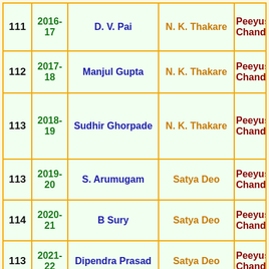| No. | Year | President | Secretary |  |
| --- | --- | --- | --- | --- |
| 111 | 2016-17 | D. V. Pai | N. K. Thakare | Peeyus Chand |
| 112 | 2017-18 | Manjul Gupta | N. K. Thakare | Peeyus Chand |
| 113 | 2018-19 | Sudhir Ghorpade | N. K. Thakare | Peeyus Chand |
| 113 | 2019-20 | S. Arumugam | Satya Deo | Peeyus Chand |
| 114 | 2020-21 | B Sury | Satya Deo | Peeyus Chand |
| 113 | 2021-22 | Dipendra Prasad | Satya Deo | Peeyus Chand |